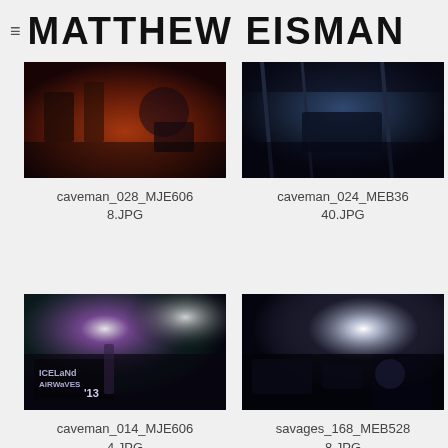MATTHEW EISMAN
[Figure (photo): Concert photo: musicians on stage with drums and instruments, warm red/orange lighting]
caveman_028_MJE6068.JPG
[Figure (photo): Concert photo: performer at equipment on stage with blue/cool lighting and scaffolding]
caveman_024_MEB3640.JPG
[Figure (photo): Concert photo: singer performing at Iceland Airwaves 13 festival with dramatic stage lighting]
caveman_014_MJE6064.JPG
[Figure (photo): Concert photo: performer leaning over DJ equipment with bright backlighting and crowd visible]
savages_168_MEB5288.JPG